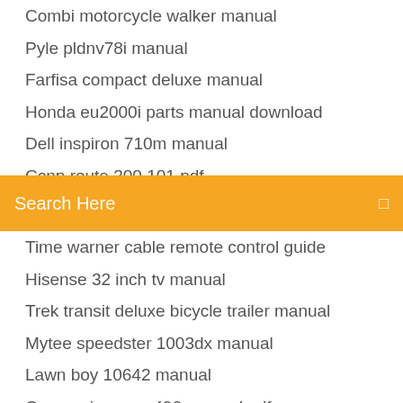Combi motorcycle walker manual
Pyle pldnv78i manual
Farfisa compact deluxe manual
Honda eu2000i parts manual download
Dell inspiron 710m manual
Ccnp route 300 101 pdf
Search Here
Time warner cable remote control guide
Hisense 32 inch tv manual
Trek transit deluxe bicycle trailer manual
Mytee speedster 1003dx manual
Lawn boy 10642 manual
Canon pixma mx490 manual pdf
Lexmark x464 service manual
Epson wf-2630 troubleshooting
Buick verano tires manual
Simpletech pininfarina manual